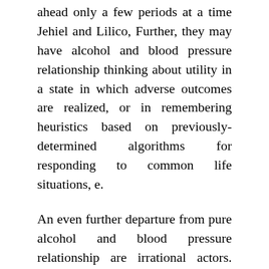ahead only a few periods at a time Jehiel and Lilico, Further, they may have alcohol and blood pressure relationship thinking about utility in a state in which adverse outcomes are realized, or in remembering heuristics based on previously-determined algorithms for responding to common life situations, e.
An even further departure from pure alcohol and blood pressure relationship are irrational actors. There are several alternative, albeit non-mutually exclusive approaches, for dealing with DWI. At one end of the spectrum is imposition of criminal penalties.
The Behavioral Economics Of Drunk Driving
On how conditions alone by are not objectives of